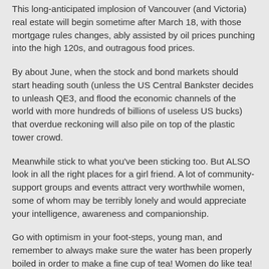This long-anticipated implosion of Vancouver (and Victoria) real estate will begin sometime after March 18, with those mortgage rules changes, ably assisted by oil prices punching into the high 120s, and outragous food prices.
By about June, when the stock and bond markets should start heading south (unless the US Central Bankster decides to unleash QE3, and flood the economic channels of the world with more hundreds of billions of useless US bucks) that overdue reckoning will also pile on top of the plastic tower crowd.
Meanwhile stick to what you've been sticking too. But ALSO look in all the right places for a girl friend. A lot of community-support groups and events attract very worthwhile women, some of whom may be terribly lonely and would appreciate your intelligence, awareness and companionship.
Go with optimism in your foot-steps, young man, and remember to always make sure the water has been properly boiled in order to make a fine cup of tea! Women do like tea! Tea as it should be. Civility.
LINES IN THE SAND
So many lines in the sand and so much damned sand. From Morocco